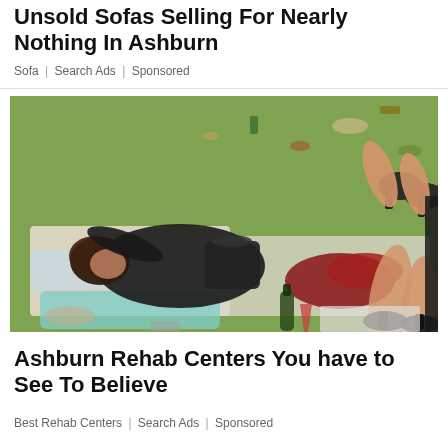Unsold Sofas Selling For Nearly Nothing In Ashburn
Sofa | Search Ads | Sponsored
[Figure (photo): People lying on a blanket on grass at an outdoor event, surrounded by scattered items and bottles]
Ashburn Rehab Centers You have to See To Believe
Best Rehab Centers | Search Ads | Sponsored